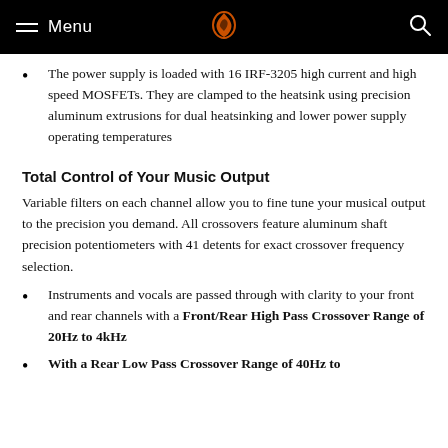Menu [logo] [search]
The power supply is loaded with 16 IRF-3205 high current and high speed MOSFETs. They are clamped to the heatsink using precision aluminum extrusions for dual heatsinking and lower power supply operating temperatures
Total Control of Your Music Output
Variable filters on each channel allow you to fine tune your musical output to the precision you demand. All crossovers feature aluminum shaft precision potentiometers with 41 detents for exact crossover frequency selection.
Instruments and vocals are passed through with clarity to your front and rear channels with a Front/Rear High Pass Crossover Range of 20Hz to 4kHz
With a Rear Low Pass Crossover Range of 40Hz to